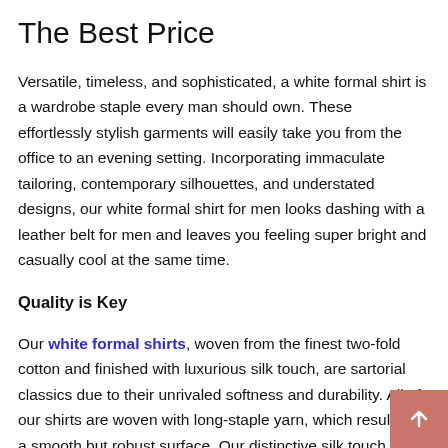The Best Price
Versatile, timeless, and sophisticated, a white formal shirt is a wardrobe staple every man should own. These effortlessly stylish garments will easily take you from the office to an evening setting. Incorporating immaculate tailoring, contemporary silhouettes, and understated designs, our white formal shirt for men looks dashing with a leather belt for men and leaves you feeling super bright and casually cool at the same time.
Quality is Key
Our white formal shirts, woven from the finest two-fold cotton and finished with luxurious silk touch, are sartorial classics due to their unrivaled softness and durability. All of our shirts are woven with long-staple yarn, which results in a smooth but robust surface. Our distinctive silk touch treatment produces a soft fabric with an irresistibly glossy appearance, ensuring that our shirts iron quickly. Our shirts are designed for